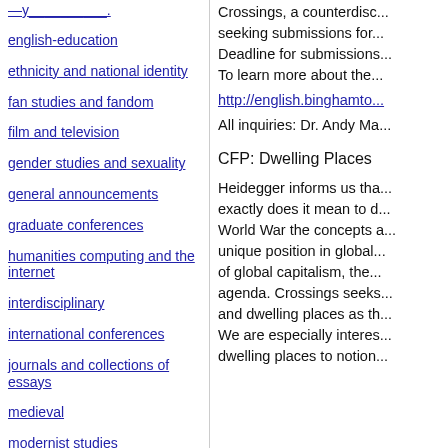english-education
ethnicity and national identity
fan studies and fandom
film and television
gender studies and sexuality
general announcements
graduate conferences
humanities computing and the internet
interdisciplinary
international conferences
journals and collections of essays
medieval
modernist studies
Crossings, a counterdisc... seeking submissions for... Deadline for submissions... To learn more about the...
http://english.binghamto...
All inquiries: Dr. Andy Ma...
CFP: Dwelling Places
Heidegger informs us tha... exactly does it mean to d... World War the concepts a... unique position in global... of global capitalism, the... agenda. Crossings seeks... and dwelling places as th... We are especially interes... dwelling places to notion...